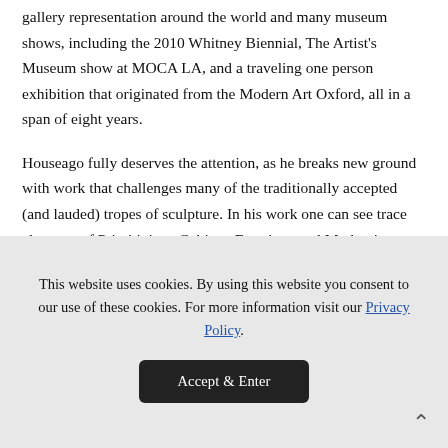gallery representation around the world and many museum shows, including the 2010 Whitney Biennial, The Artist's Museum show at MOCA LA, and a traveling one person exhibition that originated from the Modern Art Oxford, all in a span of eight years.
Houseago fully deserves the attention, as he breaks new ground with work that challenges many of the traditionally accepted (and lauded) tropes of sculpture. In his work one can see trace elements of Primitivism, Cubism, Futurism, and Modernism, as he
This website uses cookies. By using this website you consent to our use of these cookies. For more information visit our Privacy Policy.